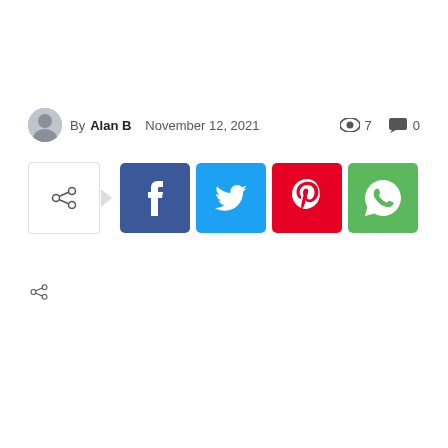By Alan B  November 12, 2021  👁 7  💬 0
[Figure (infographic): Social share buttons row: share toggle button with arrow, then Facebook (blue), Twitter (cyan), Pinterest (red), WhatsApp (green) icon buttons]
<share icon>